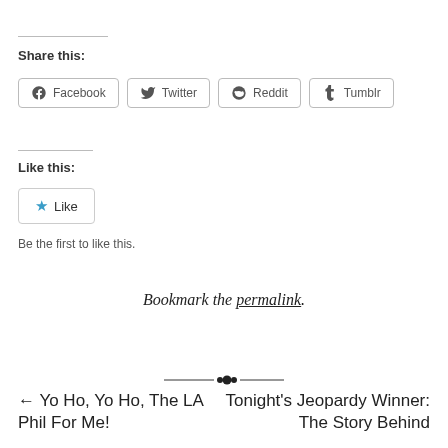Share this:
Facebook  Twitter  Reddit  Tumblr
Like this:
Like
Be the first to like this.
Bookmark the permalink.
← Yo Ho, Yo Ho, The LA Phil For Me!
Tonight's Jeopardy Winner: The Story Behind